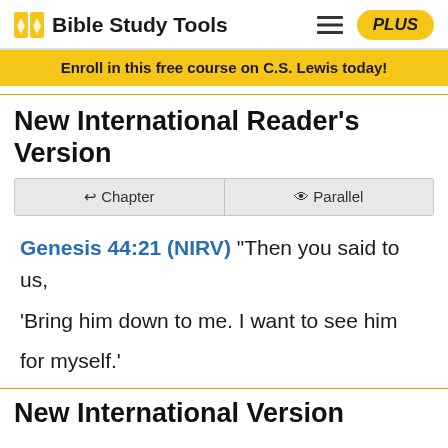Bible Study Tools | PLUS
Enroll in this free course on C.S. Lewis today!
New International Reader's Version
Chapter | Parallel
Genesis 44:21 (NIRV) "Then you said to us, 'Bring him down to me. I want to see him for myself.'
New International Version